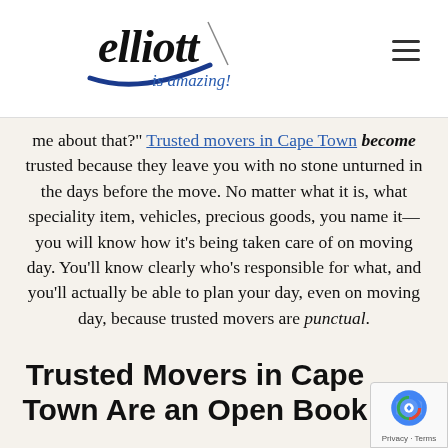[Figure (logo): Elliott 'is amazing!' logo with swoosh arc in blue and italic text]
me about that?" Trusted movers in Cape Town become trusted because they leave you with no stone unturned in the days before the move. No matter what it is, what speciality item, vehicles, precious goods, you name it—you will know how it's being taken care of on moving day. You'll know clearly who's responsible for what, and you'll actually be able to plan your day, even on moving day, because trusted movers are punctual.
Trusted Movers in Cape Town Are an Open Book